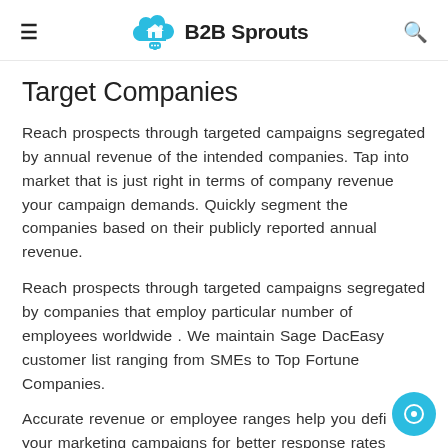B2B Sprouts
Target Companies
Reach prospects through targeted campaigns segregated by annual revenue of the intended companies. Tap into market that is just right in terms of company revenue your campaign demands. Quickly segment the companies based on their publicly reported annual revenue.
Reach prospects through targeted campaigns segregated by companies that employ particular number of employees worldwide . We maintain Sage DacEasy customer list ranging from SMEs to Top Fortune Companies.
Accurate revenue or employee ranges help you defi your marketing campaigns for better response rates